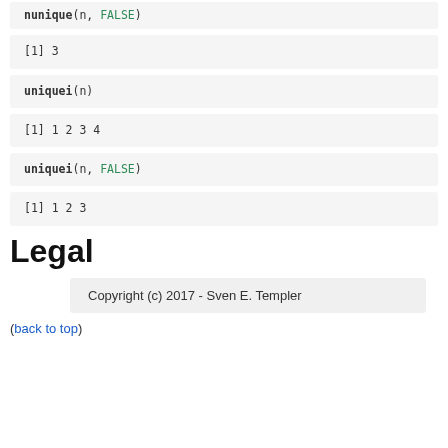nunique(n, FALSE)
[1] 3
uniquei(n)
[1] 1 2 3 4
uniquei(n, FALSE)
[1] 1 2 3
Legal
Copyright (c) 2017 - Sven E. Templer
(back to top)